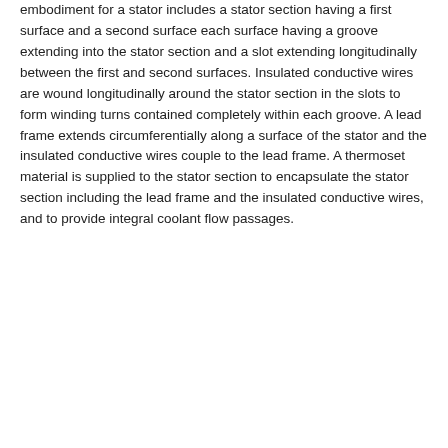embodiment for a stator includes a stator section having a first surface and a second surface each surface having a groove extending into the stator section and a slot extending longitudinally between the first and second surfaces. Insulated conductive wires are wound longitudinally around the stator section in the slots to form winding turns contained completely within each groove. A lead frame extends circumferentially along a surface of the stator and the insulated conductive wires couple to the lead frame. A thermoset material is supplied to the stator section to encapsulate the stator section including the lead frame and the insulated conductive wires, and to provide integral coolant flow passages.